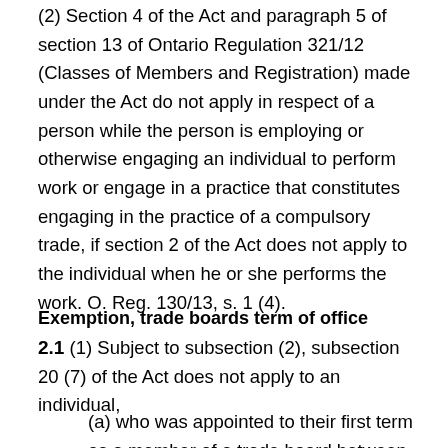(2) Section 4 of the Act and paragraph 5 of section 13 of Ontario Regulation 321/12 (Classes of Members and Registration) made under the Act do not apply in respect of a person while the person is employing or otherwise engaging an individual to perform work or engage in a practice that constitutes engaging in the practice of a compulsory trade, if section 2 of the Act does not apply to the individual when he or she performs the work. O. Reg. 130/13, s. 1 (4).
Exemption, trade boards term of office
2.1 (1) Subject to subsection (2), subsection 20 (7) of the Act does not apply to an individual,
(a) who was appointed to their first term as a member of a trade board between